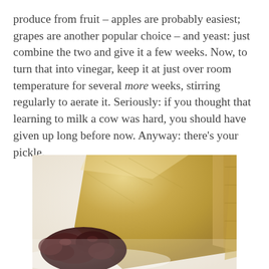produce from fruit – apples are probably easiest; grapes are another popular choice – and yeast: just combine the two and give it a few weeks. Now, to turn that into vinegar, keep it at just over room temperature for several more weeks, stirring regularly to aerate it. Seriously: if you thought that learning to milk a cow was hard, you should have given up long before now. Anyway: there's your pickle.
[Figure (photo): A wedge of aged hard cheese (pale yellow) with dark reddish-brown pickled fruit or relish in the foreground, on a white background, shallow depth of field.]